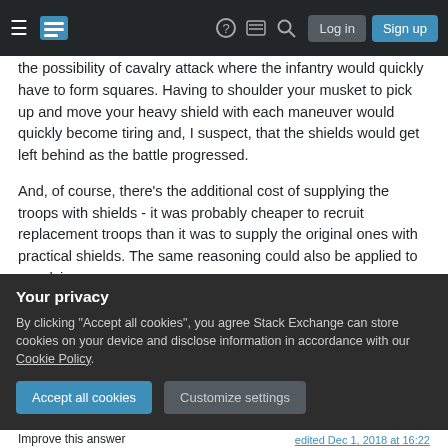Stack Exchange navigation bar with hamburger menu, logo, help, chat, search icons, Log in and Sign up buttons
the possibility of cavalry attack where the infantry would quickly have to form squares. Having to shoulder your musket to pick up and move your heavy shield with each maneuver would quickly become tiring and, I suspect, that the shields would get left behind as the battle progressed.
And, of course, there's the additional cost of supplying the troops with shields - it was probably cheaper to recruit replacement troops than it was to supply the original ones with practical shields. The same reasoning could also be applied to supplying
Your privacy
By clicking "Accept all cookies", you agree Stack Exchange can store cookies on your device and disclose information in accordance with our Cookie Policy.
Accept all cookies
Customize settings
edited Dec 1, 2018 at 16:22
Improve this answer